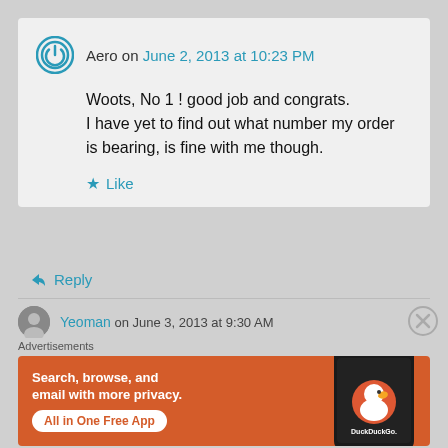Aero on June 2, 2013 at 10:23 PM
Woots, No 1 ! good job and congrats. I have yet to find out what number my order is bearing, is fine with me though.
Like
Reply
Yeoman on June 3, 2013 at 9:30 AM
Advertisements
[Figure (screenshot): DuckDuckGo advertisement banner with text 'Search, browse, and email with more privacy. All in One Free App' and a phone mockup with DuckDuckGo logo on an orange background.]